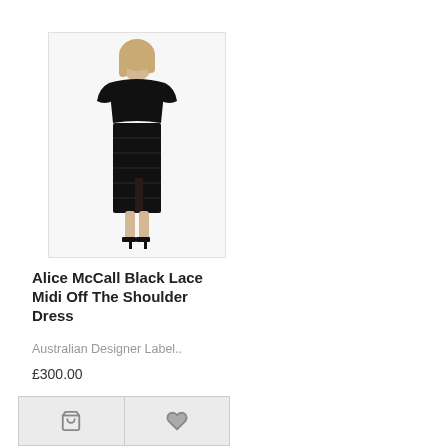[Figure (photo): A woman wearing a black lace midi off-the-shoulder dress, standing full-length against a white background. She has blonde hair and wears black heeled sandals.]
Alice McCall Black Lace Midi Off The Shoulder Dress
Australian Designer Label..
£300.00
[Figure (other): Two action buttons side by side: a shopping cart icon and a heart/wishlist icon, on a light grey background.]